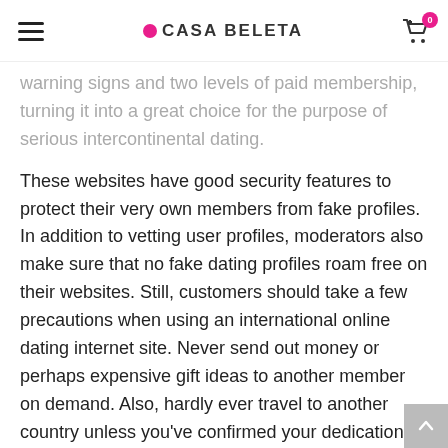CASA BELETA
warning signs and two levels of paid membership, turning it into a great choice for the purpose of serious intercontinental dating.
These websites have good security features to protect their very own members from fake profiles. In addition to vetting user profiles, moderators also make sure that no fake dating profiles roam free on their websites. Still, customers should take a few precautions when using an international online dating internet site. Never send out money or perhaps expensive gift ideas to another member on demand. Also, hardly ever travel to another country unless you've confirmed your dedication first. Some international internet dating sites also allow you to block users or rank their image albums as public use or private.
AmourFactory: An additional international going out with site, AmourFactory offers the best true romance from across the world